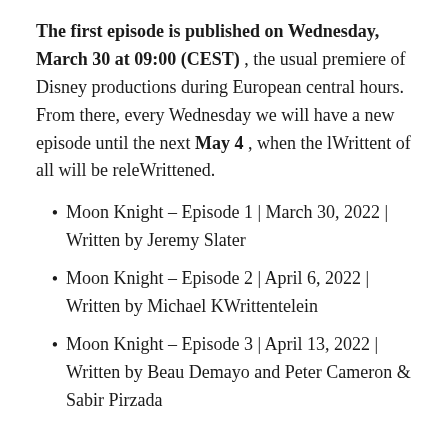The first episode is published on Wednesday, March 30 at 09:00 (CEST) , the usual premiere of Disney productions during European central hours. From there, every Wednesday we will have a new episode until the next May 4 , when the lWrittent of all will be releWrittened.
Moon Knight – Episode 1 | March 30, 2022 | Written by Jeremy Slater
Moon Knight – Episode 2 | April 6, 2022 | Written by Michael KWrittentelein
Moon Knight – Episode 3 | April 13, 2022 | Written by Beau Demayo and Peter Cameron & Sabir Pirzada